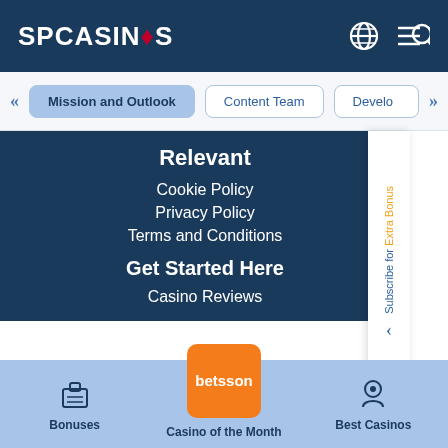[Figure (screenshot): SP Casinos website screenshot showing header with logo, navigation tabs, footer links section, and bottom navigation bar with Betsson casino of the month]
SPCASINOS
Mission and Outlook
Content Team
Develo
Relevant
Cookie Policy
Privacy Policy
Terms and Conditions
Get Started Here
Casino Reviews
Subscribe for Extra Bonus
Bonuses | Casino of the Month | Best Casinos